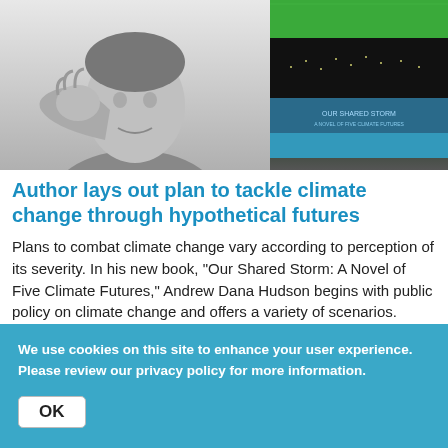[Figure (photo): Black and white photo of a person resting their chin on their hand, apparently in thought. On the right side, a book cover image showing layered green, dark, and blue horizontal bands with small text.]
Author lays out plan to tackle climate change through hypothetical futures
Plans to combat climate change vary according to perception of its severity. In his new book, "Our Shared Storm: A Novel of Five Climate Futures," Andrew Dana Hudson begins with public policy on climate change and offers a variety of scenarios.
April 29, 2022
We use cookies on this site to enhance your user experience. Please review our privacy policy for more information.
OK